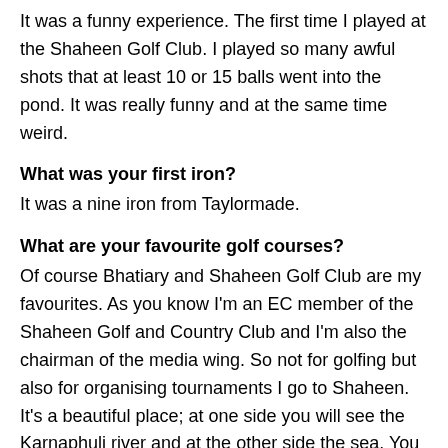It was a funny experience. The first time I played at the Shaheen Golf Club. I played so many awful shots that at least 10 or 15 balls went into the pond. It was really funny and at the same time weird.
What was your first iron?
It was a nine iron from Taylormade.
What are your favourite golf courses?
Of course Bhatiary and Shaheen Golf Club are my favourites. As you know I'm an EC member of the Shaheen Golf and Country Club and I'm also the chairman of the media wing. So not for golfing but also for organising tournaments I go to Shaheen. It's a beautiful place; at one side you will see the Karnaphuli river and at the other side the sea. You can also see some beautiful lash green. Even though it's only nine-hole, I really love it.